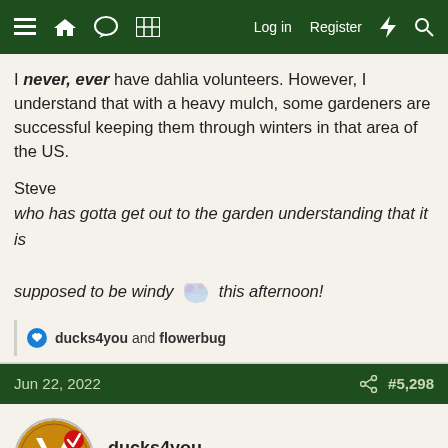Log in  Register
I never, ever have dahlia volunteers. However, I understand that with a heavy mulch, some gardeners are successful keeping them through winters in that area of the US.
Steve
who has gotta get out to the garden understanding that it is
supposed to be windy [emoji] this afternoon!
ducks4you and flowerbug
Jun 22, 2022  #5,298
ducks4you
Garden Master
seedcorn said: